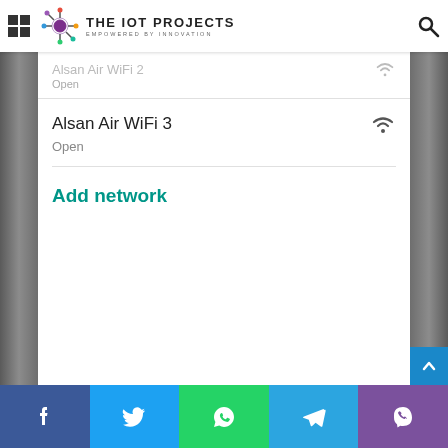THE IOT PROJECTS — EMPOWERED BY INNOVATION
[Figure (screenshot): Android WiFi settings screen showing partially visible 'Alsan Air WiFi 2' network with Open status, then 'Alsan Air WiFi 3' with Open status, and 'Add network' option in teal color. Each network shows a WiFi signal icon on the right.]
Social share buttons: Facebook, Twitter, WhatsApp, Telegram, Viber